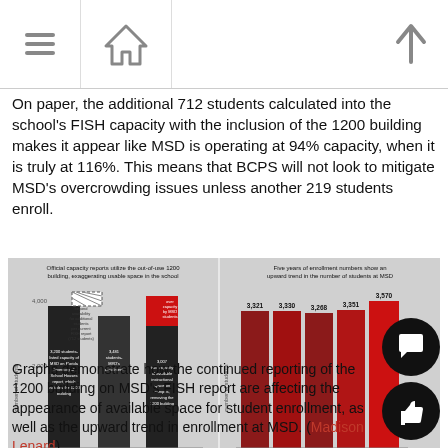navigation icons
On paper, the additional 712 students calculated into the school's FISH capacity with the inclusion of the 1200 building makes it appear like MSD is operating at 94% capacity, when it is truly at 116%. This means that BCPS will not look to mitigate MSD's overcrowding issues unless another 219 students enroll.
[Figure (grouped-bar-chart): Left chart: bar chart comparing FISH capacity with 1200 building vs MSD enrollment vs true capacity without 1200 building, showing overcapacity. Right chart: bar chart of enrollment 2017/2018 through 2021/2022 showing upward trend with values 3,321; 3,330; 3,268; 3,351; 3,570.]
Graphs demonstrate how the continued reporting of the 1200 building on MSD's FISH report are affecting the appearance of available space for student enrollment, as well as the upward trend in enrollment at MSD. (Madison Lenard)